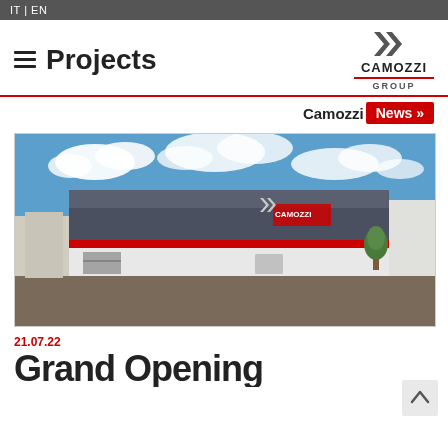IT | EN
≡ Projects
[Figure (logo): Camozzi Group logo with double-chevron icon, red underline, and GROUP text]
Camozzi News »
[Figure (photo): Exterior photo of a large industrial building with Camozzi branding, red stripe, blue sky with clouds, parking area in foreground]
21.07.22
Grand Opening